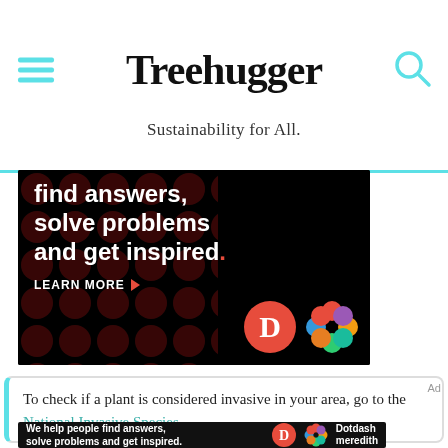Treehugger — Sustainability for All.
[Figure (photo): Dark advertisement banner with text 'find answers, solve problems and get inspired.' with LEARN MORE button and Dotdash/Meredith logos on black background with dark red dot pattern]
To check if a plant is considered invasive in your area, go to the National Invasive Species
[Figure (photo): Small advertisement banner: 'We help people find answers, solve problems and get inspired.' with Dotdash Meredith logo on dark background]